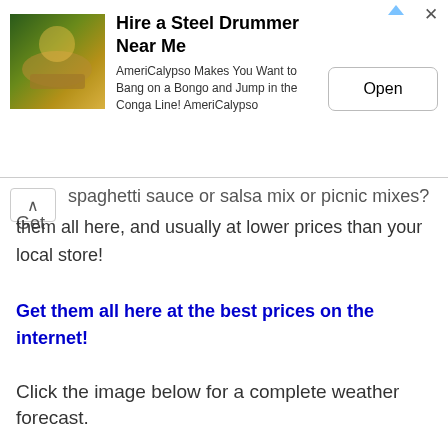[Figure (other): Advertisement banner for AmeriCalypso - Hire a Steel Drummer Near Me, with thumbnail image, description text, and Open button]
spaghetti sauce or salsa mix or picnic mixes?  Get them all here, and usually at lower prices than your local store!
Get them all here at the best prices on the internet!
Click the image below for a complete weather forecast.